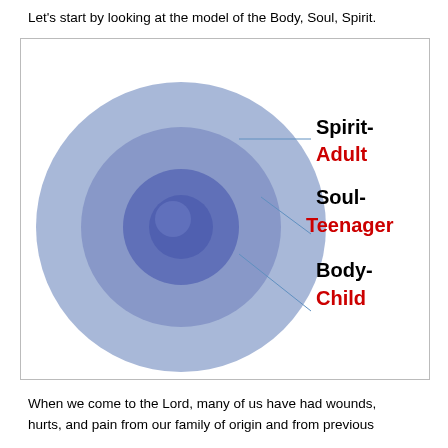Let's start by looking at the model of the Body, Soul, Spirit.
[Figure (infographic): Concentric circles diagram showing three layers: outermost large light blue circle labeled Spirit-Adult, middle medium blue circle labeled Soul-Teenager, and innermost small dark blue circle labeled Body-Child. Lines point from each ring to labels on the right side. Labels alternate black and red text.]
When we come to the Lord, many of us have had wounds, hurts, and pain from our family of origin and from previous